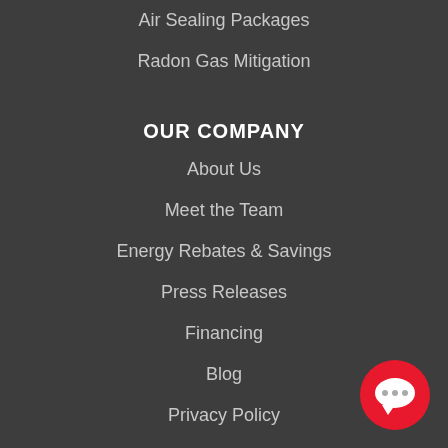Air Sealing Packages
Radon Gas Mitigation
OUR COMPANY
About Us
Meet the Team
Energy Rebates & Savings
Press Releases
Financing
Blog
Privacy Policy
Sitemap
OUR WORK